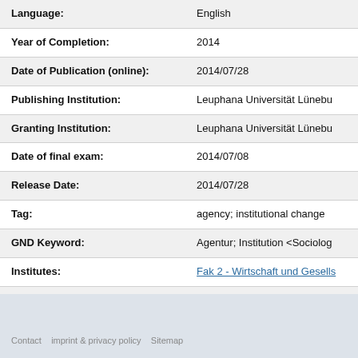| Field | Value |
| --- | --- |
| Language: | English |
| Year of Completion: | 2014 |
| Date of Publication (online): | 2014/07/28 |
| Publishing Institution: | Leuphana Universität Lünebu... |
| Granting Institution: | Leuphana Universität Lünebu... |
| Date of final exam: | 2014/07/08 |
| Release Date: | 2014/07/28 |
| Tag: | agency; institutional change |
| GND Keyword: | Agentur; Institution <Soziolog... |
| Institutes: | Fak 2 - Wirtschaft und Gesells... |
| Dewey Decimal Classification: | 3 Sozialwissenschaften / 33 W... |
Contact   imprint & privacy policy   Sitemap